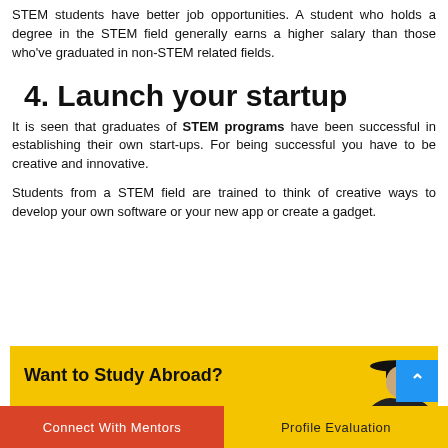STEM students have better job opportunities. A student who holds a degree in the STEM field generally earns a higher salary than those who've graduated in non-STEM related fields.
4. Launch your startup
It is seen that graduates of STEM programs have been successful in establishing their own start-ups. For being successful you have to be creative and innovative.
Students from a STEM field are trained to think of creative ways to develop your own software or your new app or create a gadget.
[Figure (infographic): Yellow banner with text 'Want to Study Abroad?' and a graduation cap figure on the right side]
Connect With Mentors   Profile Evaluation